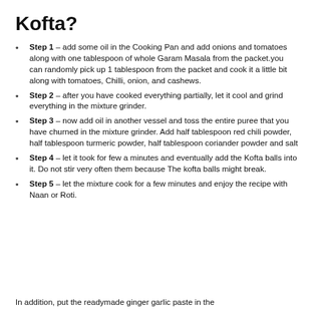Kofta?
Step 1 – add some oil in the Cooking Pan and add onions and tomatoes along with one tablespoon of whole Garam Masala from the packet.you can randomly pick up 1 tablespoon from the packet and cook it a little bit along with tomatoes, Chilli, onion, and cashews.
Step 2 – after you have cooked everything partially, let it cool and grind everything in the mixture grinder.
Step 3 – now add oil in another vessel and toss the entire puree that you have churned in the mixture grinder. Add half tablespoon red chili powder, half tablespoon turmeric powder, half tablespoon coriander powder and salt
Step 4 – let it took for few a minutes and eventually add the Kofta balls into it. Do not stir very often them because The kofta balls might break.
Step 5 – let the mixture cook for a few minutes and enjoy the recipe with Naan or Roti.
In addition, put the readymade ginger garlic paste in the